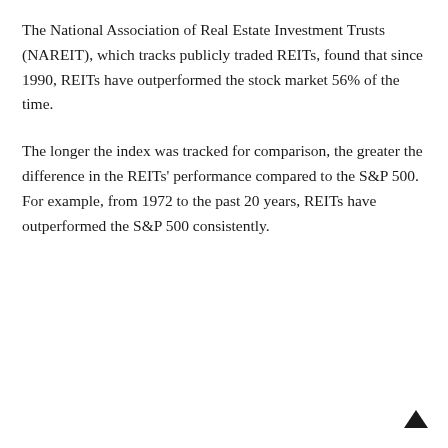The National Association of Real Estate Investment Trusts (NAREIT), which tracks publicly traded REITs, found that since 1990, REITs have outperformed the stock market 56% of the time.
The longer the index was tracked for comparison, the greater the difference in the REITs' performance compared to the S&P 500. For example, from 1972 to the past 20 years, REITs have outperformed the S&P 500 consistently.